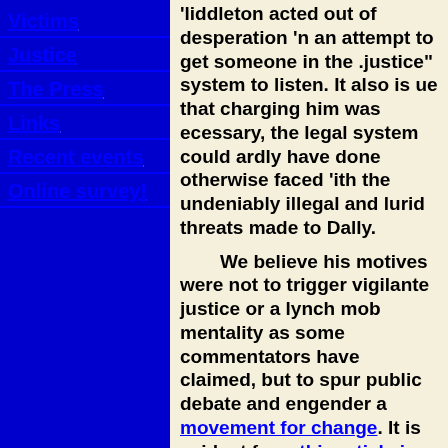Victims
Justice
The Press
Links
Recent events
Online survey!
Middleton acted out of desperation in an attempt to get someone in the "justice" system to listen. It also is true that charging him was necessary, the legal system could hardly have done otherwise faced with the undeniably illegal and lurid threats made to Dally.
We believe his motives were not to trigger vigilante justice or a lynch mob mentality as some commentators have claimed, but to spur public debate and engender a movement for change. It is evident from this article in the Herald a few days ago that his motives are more complex and far-reaching than many observers have assumed.
There is no doubt that grief played a substantial part also.